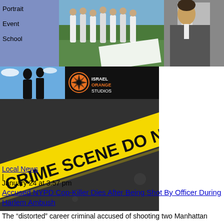[Figure (screenshot): Website screenshot showing top navigation banner with blue/purple background, menu items (Portrait, Event, School), group photo of men in white shirts on grass, and right side photo of man in suit]
[Figure (logo): Israel Orange Studios logo with orange camera aperture icon on black background with silhouette of couple]
[Figure (photo): Crime scene do not cross yellow tape photo on dark background]
Local News
|
January 24 at 3:57 pm
Accused NYPD Cop-Killer Dies After Being Shot By Officer During Harlem Ambush
The “distorted” career criminal accused of shooting two Manhattan